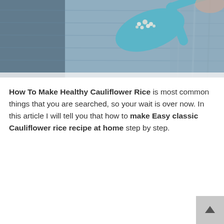[Figure (photo): Top-down photo of a blue ceramic spoon with cauliflower rice on a blue-grey textured cloth/linen background]
How To Make Healthy Cauliflower Rice is most common things that you are searched, so your wait is over now. In this article I will tell you that how to make Easy classic Cauliflower rice recipe at home step by step.